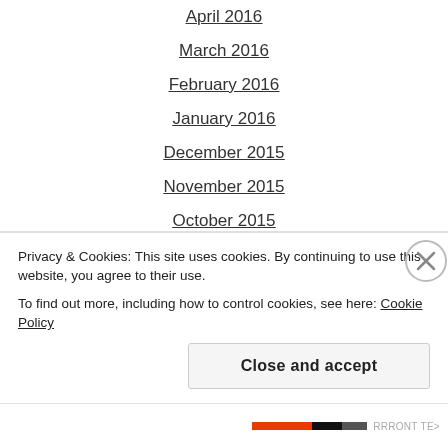April 2016
March 2016
February 2016
January 2016
December 2015
November 2015
October 2015
September 2015
August 2015
July 2015
June 2015
May 2015
April 2015
March 2015
Privacy & Cookies: This site uses cookies. By continuing to use this website, you agree to their use. To find out more, including how to control cookies, see here: Cookie Policy
Close and accept